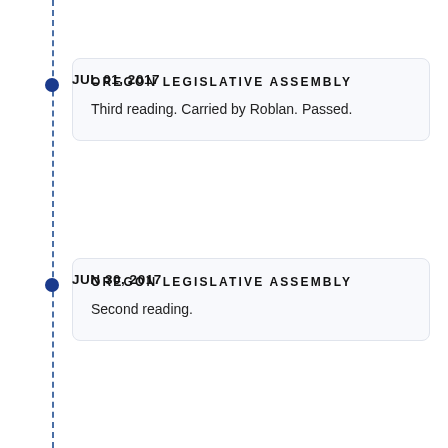JUL 01, 2017
OREGON LEGISLATIVE ASSEMBLY
Third reading. Carried by Roblan. Passed.
JUN 30, 2017
OREGON LEGISLATIVE ASSEMBLY
Second reading.
JUN 30, 2017
OREGON LEGISLATIVE ASSEMBLY